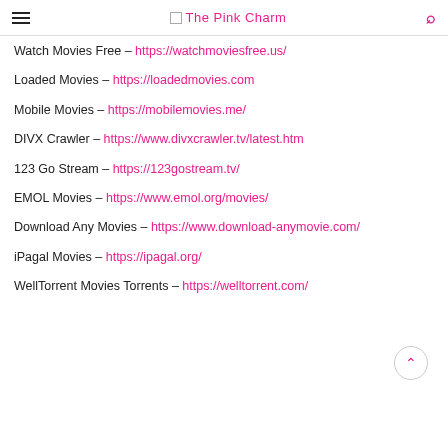The Pink Charm
Watch Movies Free – https://watchmoviesfree.us/
Loaded Movies – https://loadedmovies.com
Mobile Movies – https://mobilemovies.me/
DIVX Crawler – https://www.divxcrawler.tv/latest.htm
123 Go Stream – https://123gostream.tv/
EMOL Movies – https://www.emol.org/movies/
Download Any Movies – https://www.download-anymovie.com/
iPagal Movies – https://ipagal.org/
WellTorrent Movies Torrents – https://welltorrent.com/